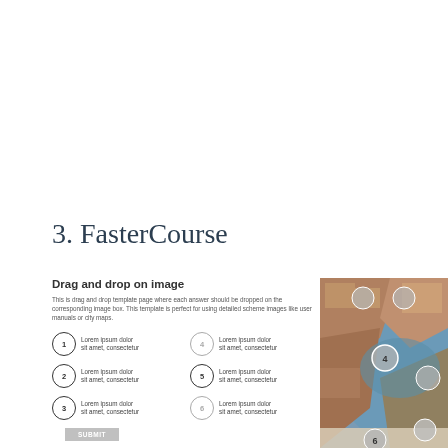3. FasterCourse
Drag and drop on image
This is drag and drop template page where each answer should be dropped on the corresponding image box. This template is perfect for using detailed scheme images like user manuals or city maps.
1 Lorem ipsum dolor sit amet, consectetur
4 Lorem ipsum dolor sit amet, consectetur
2 Lorem ipsum dolor sit amet, consectetur
5 Lorem ipsum dolor sit amet, consectetur
3 Lorem ipsum dolor sit amet, consectetur
6 Lorem ipsum dolor sit amet, consectetur
[Figure (photo): Aerial view of a coastal town with a marina/harbor, showing buildings and water from above. Numbered drop zones (4, 5, 6) overlaid on image.]